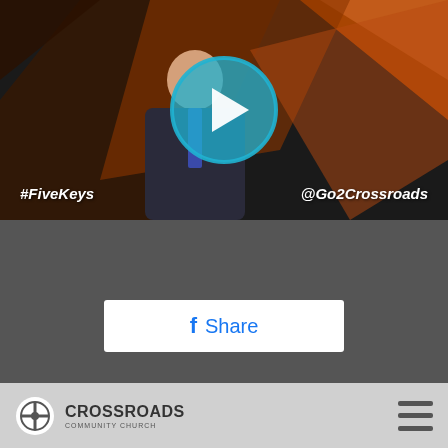[Figure (photo): Video thumbnail showing a man in a dark suit on stage with colorful geometric background, overlaid with a circular blue play button. Text overlays: #FiveKeys on lower left and @Go2Crossroads on lower right.]
[Figure (other): Facebook Share button - white rounded rectangle with Facebook 'f' icon and 'Share' text in blue]
SUBSCRIBE TO PODCAST
[Figure (logo): Crossroads Community Church logo with circular icon and text CROSSROADS on a light gray footer bar, hamburger menu icon on the right]